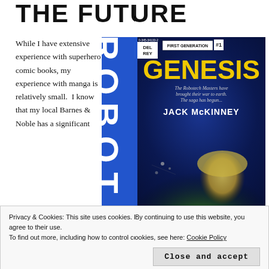THE FUTURE
While I have extensive experience with superhero comic books, my experience with manga is relatively small.  I know that my local Barnes & Noble has a significant
[Figure (photo): Book cover of 'Robotech: Genesis' First Generation #1 by Jack McKinney, published by Del Rey. Blue spine with 'ROBOT' text vertically. Cover shows yellow 'GENESIS' title, subtitle 'The Robotech Masters have brought their war to earth. The saga has begun...' and author name JACK McKINNEY. Space battle illustration with green glow character.]
Privacy & Cookies: This site uses cookies. By continuing to use this website, you agree to their use.
To find out more, including how to control cookies, see here: Cookie Policy
Close and accept
often seen